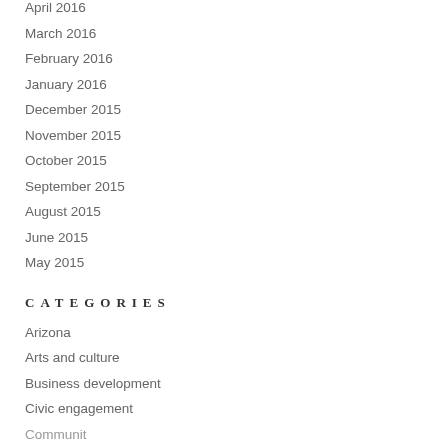April 2016
March 2016
February 2016
January 2016
December 2015
November 2015
October 2015
September 2015
August 2015
June 2015
May 2015
CATEGORIES
Arizona
Arts and culture
Business development
Civic engagement
Community